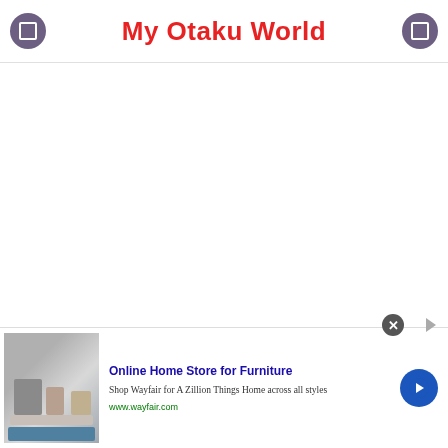My Otaku World
[Figure (screenshot): White blank main content area below the header]
[Figure (infographic): Advertisement banner for Wayfair with kitchen appliance image, headline 'Online Home Store for Furniture', body text 'Shop Wayfair for A Zillion Things Home across all styles', URL 'www.wayfair.com', close button, and navigation arrow button]